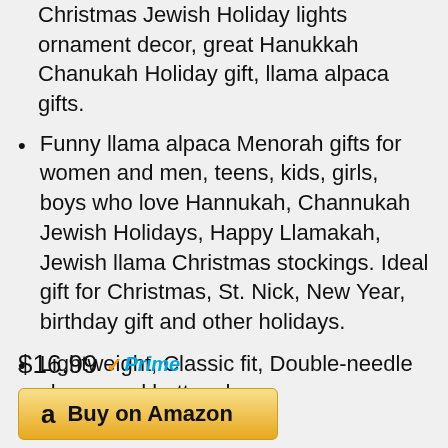Christmas Jewish Holiday lights ornament decor, great Hanukkah Chanukah Holiday gift, llama alpaca gifts.
Funny llama alpaca Menorah gifts for women and men, teens, kids, girls, boys who love Hannukah, Channukah Jewish Holidays, Happy Llamakah, Jewish llama Christmas stockings. Ideal gift for Christmas, St. Nick, New Year, birthday gift and other holidays.
Lightweight, Classic fit, Double-needle sleeve and bottom hem
$16.99 Prime
Buy on Amazon